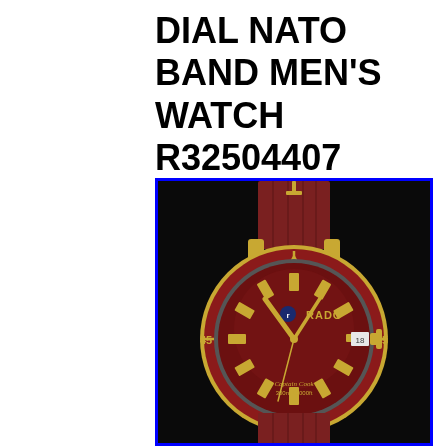DIAL NATO BAND MEN'S WATCH R32504407
[Figure (photo): Rado Captain Cook men's watch with deep red/burgundy dial, gold-tone case, red NATO fabric strap, rotating red bezel with gold markers, gold hands, date window at 3 o'clock, marked 45 and 15 and 0E on bezel. Swiss made diving watch, 300m/1000ft water resistance.]